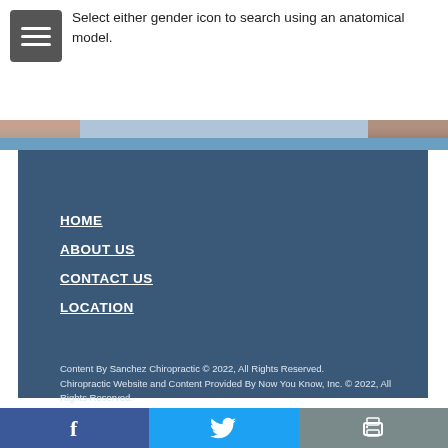Select either gender icon to search using an anatomical model.
[Figure (illustration): Partial view of two person face photos forming an image strip at the top of the footer section]
HOME
ABOUT US
CONTACT US
LOCATION
Content By Sanchez Chiropractic © 2022, All Rights Reserved. Chiropractic Website and Content Provided By Now You Know, Inc. © 2022, All Rights Reserved.
[Figure (infographic): Bottom bar with Facebook, Twitter, and print icons]